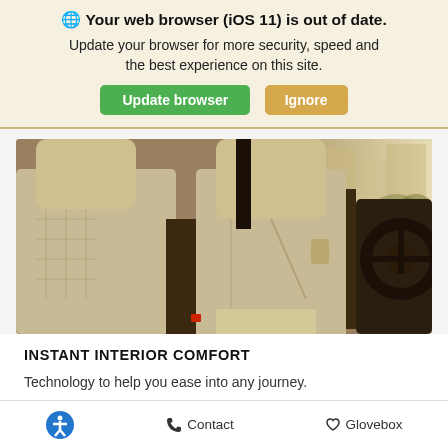🌐 Your web browser (iOS 11) is out of date. Update your browser for more security, speed and the best experience on this site. [Update browser] [Ignore]
[Figure (photo): Car interior showing cream/beige leather seats with quilted pattern on rear seats, dashboard visible on right side, viewed from rear passenger position looking forward]
INSTANT INTERIOR COMFORT
Technology to help you ease into any journey.
Accessibility icon | Contact | Glovebox